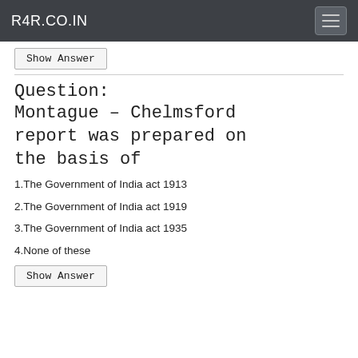R4R.CO.IN
Show Answer
Question:
Montague – Chelmsford report was prepared on the basis of
1.The Government of India act 1913
2.The Government of India act 1919
3.The Government of India act 1935
4.None of these
Show Answer